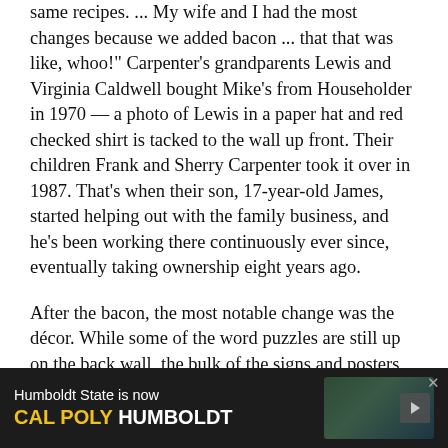same recipes. ... My wife and I had the most changes because we added bacon ... that that was like, whoo!" Carpenter's grandparents Lewis and Virginia Caldwell bought Mike's from Householder in 1970 — a photo of Lewis in a paper hat and red checked shirt is tacked to the wall up front. Their children Frank and Sherry Carpenter took it over in 1987. That's when their son, 17-year-old James, started helping out with the family business, and he's been working there continuously ever since, eventually taking ownership eight years ago.
After the bacon, the most notable change was the décor. While some of the word puzzles are still up on the back wall, the bulk of the signs and posters, some of which espoused Reagan-era right-wing views that, for many, came to define the character of the place, have been
[Figure (infographic): Advertisement banner: 'Humboldt State is now CAL POLY HUMBOLDT' with dark background, forest/nature image on right, and forward arrow button]